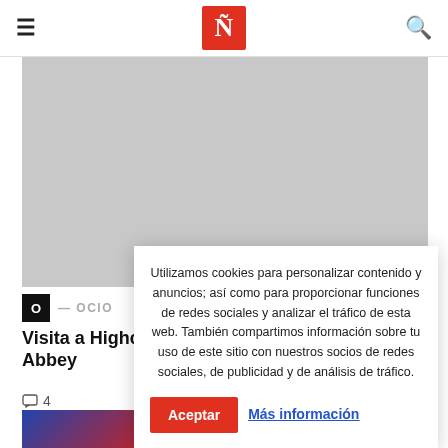≡  Ñ  🔍
[Figure (photo): Large grey placeholder image occupying top area of the page]
O — OCIO
Visita a Highc… Abbey
💬 4
Utilizamos cookies para personalizar contenido y anuncios; así como para proporcionar funciones de redes sociales y analizar el tráfico de esta web. También compartimos información sobre tu uso de este sitio con nuestros socios de redes sociales, de publicidad y de análisis de tráfico.
[Figure (photo): Bottom strip with flags/image partially visible]